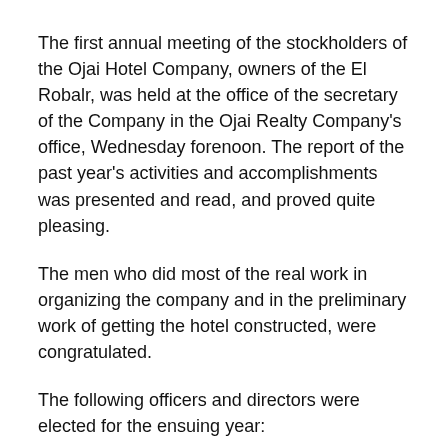The first annual meeting of the stockholders of the Ojai Hotel Company, owners of the El Robalr, was held at the office of the secretary of the Company in the Ojai Realty Company's office, Wednesday forenoon. The report of the past year's activities and accomplishments was presented and read, and proved quite pleasing.
The men who did most of the real work in organizing the company and in the preliminary work of getting the hotel constructed, were congratulated.
The following officers and directors were elected for the ensuing year:
S. D. Thacher, president; D. A. Smith, vice president; B. E. Gabbert, secretary; E. W. Wiest, treasurer; E. L. Libby, Geo. Holsten, J. J. Burke.